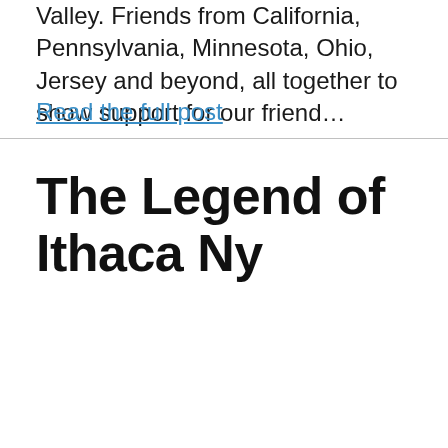Valley. Friends from California, Pennsylvania, Minnesota, Ohio, Jersey and beyond, all together to show support for our friend...
Read the full post
The Legend of Ithaca Ny